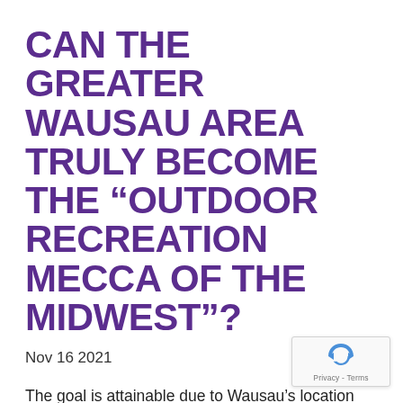CAN THE GREATER WAUSAU AREA TRULY BECOME THE “OUTDOOR RECREATION MECCA OF THE MIDWEST”?
Nov 16 2021
The goal is attainable due to Wausau’s location and the existing base of premier recreational activities already in place in the area. If Option Four were approved, the area can become an IMBA Mountain Bike Ride Center, drawing thousands of enthusiasts from around the country. The expansion of Granite Peak wi…